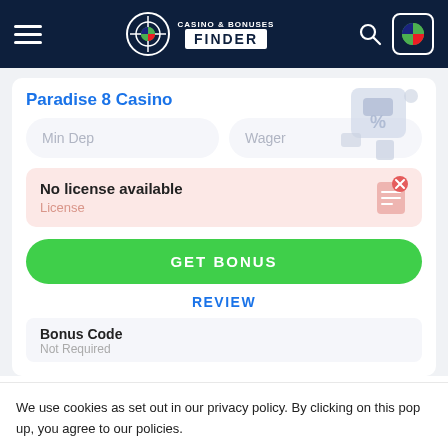CASINO & BONUSES FINDER
Paradise 8 Casino
Min Dep
Wager
No license available
License
GET BONUS
REVIEW
Bonus Code
Not Required
We use cookies as set out in our privacy policy. By clicking on this pop up, you agree to our policies.
Read the privacy policy
It's OK For Me